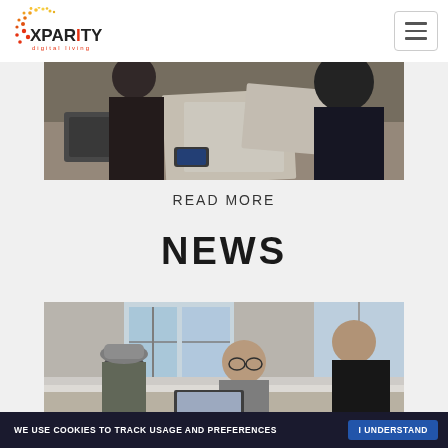Xparity digital living — navigation header with hamburger menu
[Figure (photo): Office scene with people working at a desk with papers and keyboards, top-down view]
READ MORE
NEWS
[Figure (photo): Three people in an office collaborating around a laptop, large windows in background]
WE USE COOKIES TO TRACK USAGE AND PREFERENCES   I UNDERSTAND